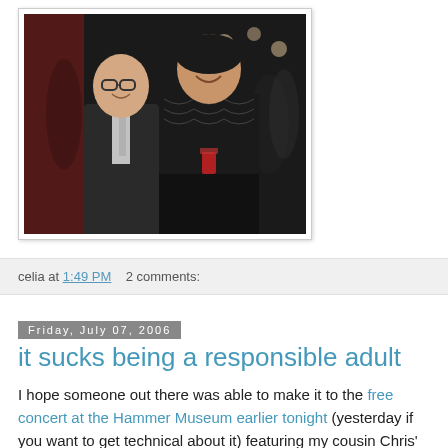[Figure (photo): Two people posing together at what appears to be an evening event. A man in a dark suit and tie on the left, and a woman in a black lace top on the right, both smiling at the camera.]
celia at 1:49 PM    2 comments:
Friday, July 07, 2006
it sucks being a responsible adult
I hope someone out there was able to make it to the free concert at the Hammer Museum earlier tonight (yesterday if you want to get technical about it) featuring my cousin Chris' band. You might have heard of them, Silversun Pickups. I had it on my calendar all week, but I got a call from Bigshot Producer - they want the rewrite muy pronto, which means Friday in Spanish. Okay, it doesn't, but I have to turn it in on Friday, which means I can't do anything until it's done.